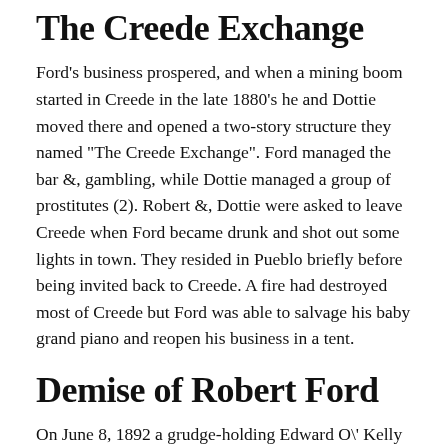The Creede Exchange
Ford's business prospered, and when a mining boom started in Creede in the late 1880's he and Dottie moved there and opened a two-story structure they named "The Creede Exchange". Ford managed the bar &, gambling, while Dottie managed a group of prostitutes (2). Robert &, Dottie were asked to leave Creede when Ford became drunk and shot out some lights in town. They resided in Pueblo briefly before being invited back to Creede. A fire had destroyed most of Creede but Ford was able to salvage his baby grand piano and reopen his business in a tent.
Demise of Robert Ford
On June 8, 1892 a grudge-holding Edward O\' Kelly entered the tent and shot Ford in the back with a double-barreled shotgun (3).
The Ford M...